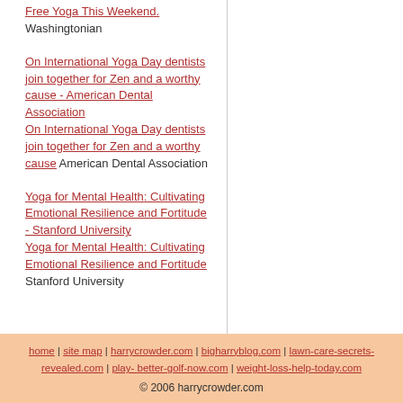Free Yoga This Weekend. Washingtonian
On International Yoga Day dentists join together for Zen and a worthy cause - American Dental Association
On International Yoga Day dentists join together for Zen and a worthy cause  American Dental Association
Yoga for Mental Health: Cultivating Emotional Resilience and Fortitude - Stanford University
Yoga for Mental Health: Cultivating Emotional Resilience and Fortitude  Stanford University
home | site map | harrycrowder.com | bigharryblog.com | lawn-care-secrets-revealed.com | play- better-golf-now.com | weight-loss-help-today.com
© 2006 harrycrowder.com